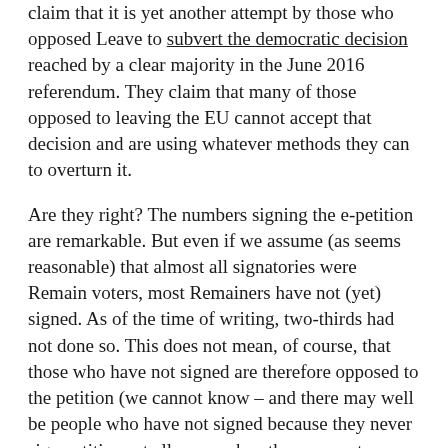claim that it is yet another attempt by those who opposed Leave to subvert the democratic decision reached by a clear majority in the June 2016 referendum. They claim that many of those opposed to leaving the EU cannot accept that decision and are using whatever methods they can to overturn it.
Are they right? The numbers signing the e-petition are remarkable. But even if we assume (as seems reasonable) that almost all signatories were Remain voters, most Remainers have not (yet) signed. As of the time of writing, two-thirds had not done so. This does not mean, of course, that those who have not signed are therefore opposed to the petition (we cannot know – and there may well be people who have not signed because they never sign petitions at all, even when they support a petition's cause).